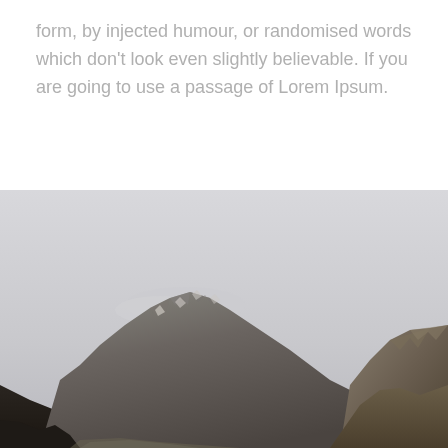form, by injected humour, or randomised words which don't look even slightly believable. If you are going to use a passage of Lorem Ipsum.
[Figure (photo): Landscape photograph of rugged mountain peaks with rocky terrain in the foreground and a pale overcast sky in the background. The mountains show dark rocky faces with some lighter patches, possibly snow or weathered rock, and the scene has a moody, grey atmosphere.]